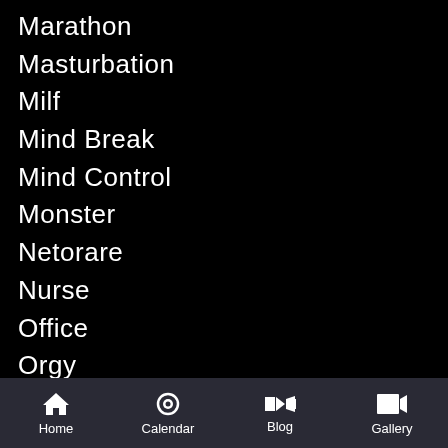Marathon
Masturbation
Milf
Mind Break
Mind Control
Monster
Netorare
Nurse
Office
Orgy
Plot
POV
Pregnant
Public Sex
Rape
Raw
Home | Calendar | Blog | Gallery